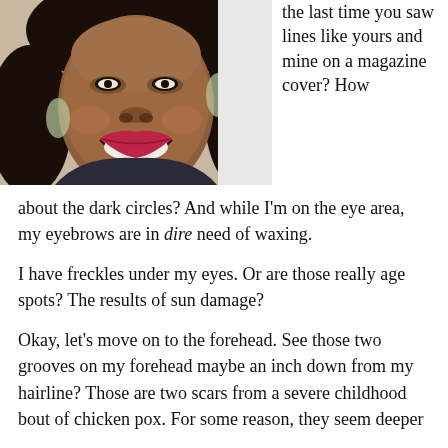[Figure (photo): Close-up selfie photo of a smiling Black woman with curly hair and dangling earrings, wearing a dark turtleneck.]
the last time you saw lines like yours and mine on a magazine cover? How about the dark circles? And while I'm on the eye area, my eyebrows are in dire need of waxing.
I have freckles under my eyes. Or are those really age spots? The results of sun damage?
Okay, let's move on to the forehead. See those two grooves on my forehead maybe an inch down from my hairline? Those are two scars from a severe childhood bout of chicken pox. For some reason, they seem deeper than ever these days.